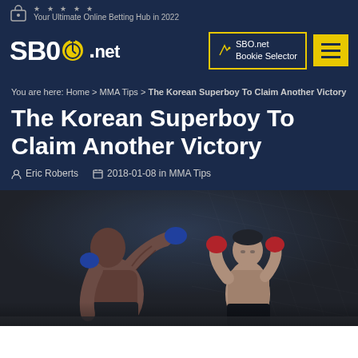Your Ultimate Online Betting Hub in 2022
[Figure (logo): SBO.net logo with stopwatch icon]
[Figure (other): SBO.net Bookie Selector button with yellow border]
You are here: Home > MMA Tips > The Korean Superboy To Claim Another Victory
The Korean Superboy To Claim Another Victory
Eric Roberts  2018-01-08 in MMA Tips
[Figure (photo): Two MMA fighters in the octagon, one shirtless with tattoos throwing a punch, the other in fighting stance with red gloves, UFC cage visible in background]